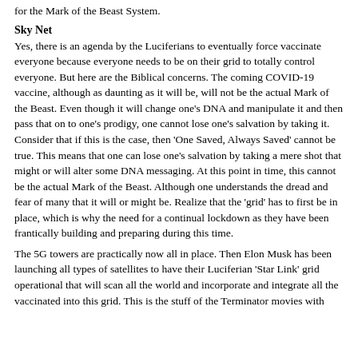for the Mark of the Beast System.
Sky Net
Yes, there is an agenda by the Luciferians to eventually force vaccinate everyone because everyone needs to be on their grid to totally control everyone. But here are the Biblical concerns. The coming COVID-19 vaccine, although as daunting as it will be, will not be the actual Mark of the Beast. Even though it will change one's DNA and manipulate it and then pass that on to one's prodigy, one cannot lose one's salvation by taking it. Consider that if this is the case, then 'One Saved, Always Saved' cannot be true. This means that one can lose one's salvation by taking a mere shot that might or will alter some DNA messaging. At this point in time, this cannot be the actual Mark of the Beast. Although one understands the dread and fear of many that it will or might be. Realize that the 'grid' has to first be in place, which is why the need for a continual lockdown as they have been frantically building and preparing during this time.
The 5G towers are practically now all in place. Then Elon Musk has been launching all types of satellites to have their Luciferian 'Star Link' grid operational that will scan all the world and incorporate and integrate all the vaccinated into this grid. This is the stuff of the Terminator movies with